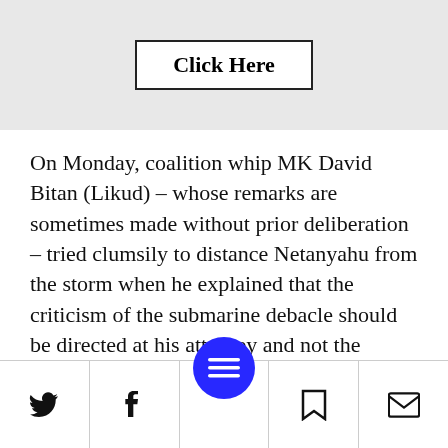[Figure (other): Gray banner with a 'Click Here' button with black border]
On Monday, coalition whip MK David Bitan (Likud) – whose remarks are sometimes made without prior deliberation – tried clumsily to distance Netanyahu from the storm when he explained that the criticism of the submarine debacle should be directed at his attorney and not the client.
The Prime Minister's Bureau is working overtime to exert pressure on journalists in
Twitter | Facebook | Menu | Bookmark | Mail